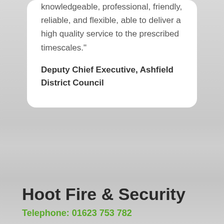knowledgeable, professional, friendly, reliable, and flexible, able to deliver a high quality service to the prescribed timescales."
Deputy Chief Executive, Ashfield District Council
Hoot Fire & Security
Telephone: 01623 753 782